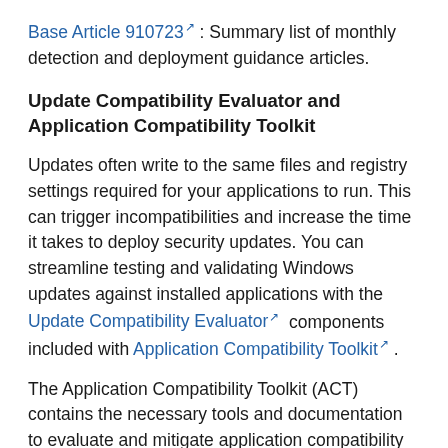Base Article 910723 [link, external]: Summary list of monthly detection and deployment guidance articles.
Update Compatibility Evaluator and Application Compatibility Toolkit
Updates often write to the same files and registry settings required for your applications to run. This can trigger incompatibilities and increase the time it takes to deploy security updates. You can streamline testing and validating Windows updates against installed applications with the Update Compatibility Evaluator [link, external] components included with Application Compatibility Toolkit [link, external].
The Application Compatibility Toolkit (ACT) contains the necessary tools and documentation to evaluate and mitigate application compatibility issues before deploying Microsoft Windows Vista, a Windows Update, a Microsoft Security Update, or a new version of Windows Internet Explorer in